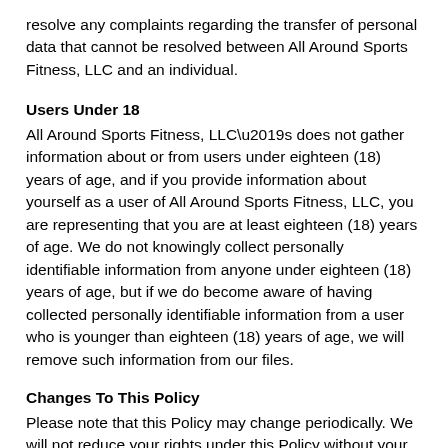resolve any complaints regarding the transfer of personal data that cannot be resolved between All Around Sports Fitness, LLC and an individual.
Users Under 18
All Around Sports Fitness, LLC’s does not gather information about or from users under eighteen (18) years of age, and if you provide information about yourself as a user of All Around Sports Fitness, LLC, you are representing that you are at least eighteen (18) years of age. We do not knowingly collect personally identifiable information from anyone under eighteen (18) years of age, but if we do become aware of having collected personally identifiable information from a user who is younger than eighteen (18) years of age, we will remove such information from our files.
Changes To This Policy
Please note that this Policy may change periodically. We will not reduce your rights under this Policy without your explicit consent, and we expect most such changes will be minor. We will post any Policy changes on this page, and, if the changes are significant, we will provide a more prominent notice (including, for certain services, email notification of Policy changes).